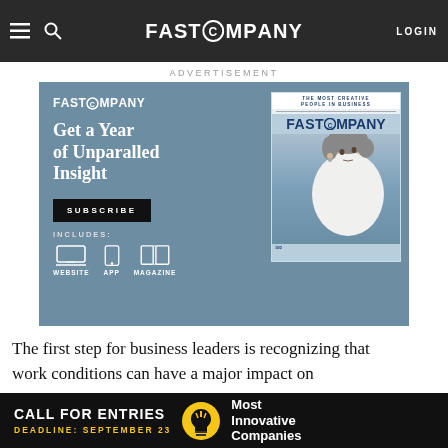FAST COMPANY — Navigation bar with LOGIN
changes don't need to be costly, and often benefit the organization as w
ADVERTISEMENT
[Figure (illustration): Fast Company subscription advertisement. Slate-blue background. Left side: Fast Company logo in white, bold headline 'Get a Year of Unparalled Insight', black SUBSCRIBE button, 'INCLUDES:' text with website, app, magazine icons. Right side: Fast Company magazine cover showing a woman in a white turtleneck looking upward, with 'THE MOST CREATIVE PEOPLE IN BUSINESS' text.]
The first step for business leaders is recognizing that work conditions can have a major impact on
CALL FOR ENTRIES DEADLINE: SEPTEMBER 23 Most Innovative Companies